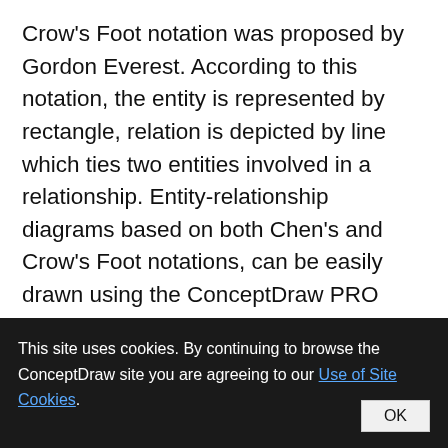Crow's Foot notation was proposed by Gordon Everest. According to this notation, the entity is represented by rectangle, relation is depicted by line which ties two entities involved in a relationship. Entity-relationship diagrams based on both Chen's and Crow's Foot notations, can be easily drawn using the ConceptDraw PRO ERD diagrams software tools for design element Crow's Foot and Chen from Entity-
This site uses cookies. By continuing to browse the ConceptDraw site you are agreeing to our Use of Site Cookies. OK